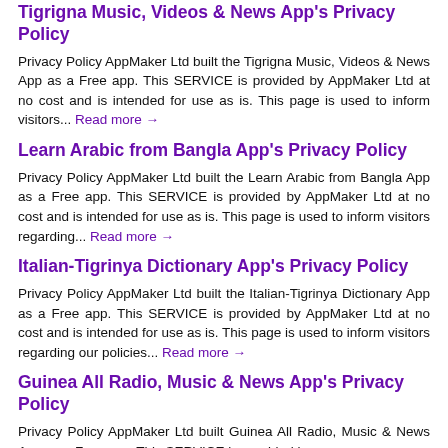Tigrigna Music, Videos & News App's Privacy Policy
Privacy Policy AppMaker Ltd built the Tigrigna Music, Videos & News App as a Free app. This SERVICE is provided by AppMaker Ltd at no cost and is intended for use as is. This page is used to inform visitors... Read more →
Learn Arabic from Bangla App's Privacy Policy
Privacy Policy AppMaker Ltd built the Learn Arabic from Bangla App as a Free app. This SERVICE is provided by AppMaker Ltd at no cost and is intended for use as is. This page is used to inform visitors regarding... Read more →
Italian-Tigrinya Dictionary App's Privacy Policy
Privacy Policy AppMaker Ltd built the Italian-Tigrinya Dictionary App as a Free app. This SERVICE is provided by AppMaker Ltd at no cost and is intended for use as is. This page is used to inform visitors regarding our policies... Read more →
Guinea All Radio, Music & News App's Privacy Policy
Privacy Policy AppMaker Ltd built Guinea All Radio, Music & News App as a Free app. This SERVICE is provided by